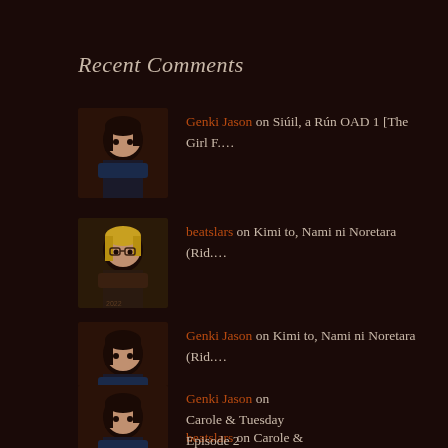Recent Comments
Genki Jason on Siúil, a Rún OAD 1 [The Girl F....
beatslars on Kimi to, Nami ni Noretara (Rid....
Genki Jason on Kimi to, Nami ni Noretara (Rid....
Genki Jason on Carole & Tuesday Episode 2
beatslars on Carole &...